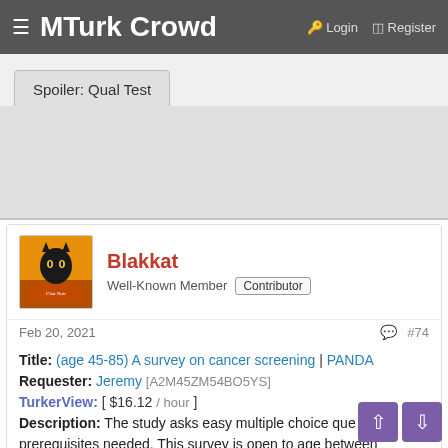≡ MTurk Crowd   Login   Register
Spoiler: Qual Test
Blakkat
Well-Known Member  Contributor
Feb 20, 2021  #74
Title: (age 45-85) A survey on cancer screening | PANDA
Requester: Jeremy [A2M45ZM54BO5YS]
TurkerView: [ $16.12 / hour ]
Description: The study asks easy multiple choice questions. No prerequisites needed. This survey is open to age between 45-85. ...